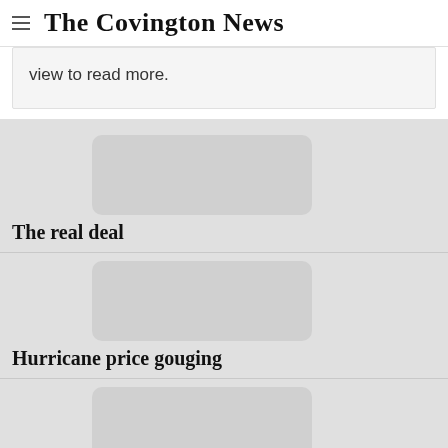The Covington News
view to read more.
The real deal
Hurricane price gouging